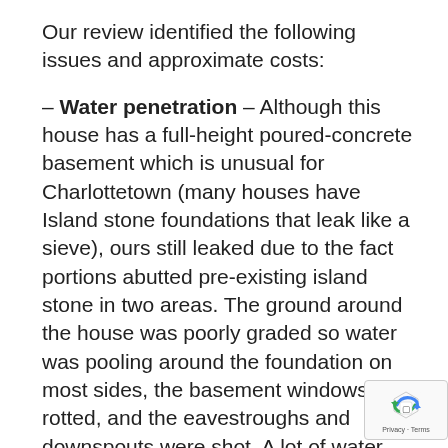Our review identified the following issues and approximate costs:
– Water penetration – Although this house has a full-height poured-concrete basement which is unusual for Charlottetown (many houses have Island stone foundations that leak like a sieve), ours still leaked due to the fact portions abutted pre-existing island stone in two areas. The ground around the house was poorly graded so water was pooling around the foundation on most sides, the basement windows were rotted, and the eavestroughs and downspouts were shot. A lot of water was surrounding the house instead of being diverted away. Estimated Repair Expense: $4500
– Exterior – The side porch and staircase to the rear entry serving the third floor, the enclosed front porch, third floor deck and fire escape, plus the garage were all in poor condition. The exterior shingles on the house and also Estimated Cost To Be...